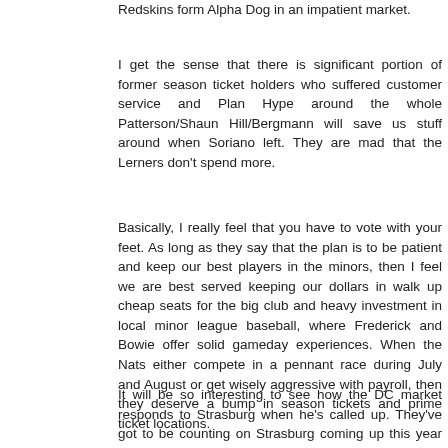Redskins form Alpha Dog in an impatient market.
I get the sense that there is significant portion of former season ticket holders who suffered customer service and Plan Hype around the whole Patterson/Shaun Hill/Bergmann will save us stuff around when Soriano left. They are mad that the Lerners don't spend more.
Basically, I really feel that you have to vote with your feet. As long as they say that the plan is to be patient and keep our best players in the minors, then I feel we are best served keeping our dollars in walk up cheap seats for the big club and heavy investment in local minor league baseball, where Frederick and Bowie offer solid gameday experiences. When the Nats either compete in a pennant race during July and August or get wisely aggressive with payroll, then they deserve a bump in season tickets and prime ticket locations.
It will be so interesting to see how the DC market responds to Strasburg when he's called up. They've got to be counting on Strasburg coming up this year and there being a bump in season tickets for next year for those who want